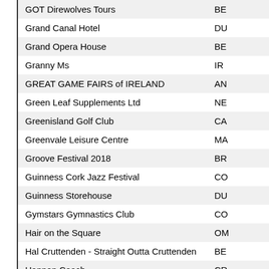| Name | Code |
| --- | --- |
| GOT Direwolves Tours | BE |
| Grand Canal Hotel | DU |
| Grand Opera House | BE |
| Granny Ms | IR |
| GREAT GAME FAIRS of IRELAND | AN |
| Green Leaf Supplements Ltd | NE |
| Greenisland Golf Club | CA |
| Greenvale Leisure Centre | MA |
| Groove Festival 2018 | BR |
| Guinness Cork Jazz Festival | CO |
| Guinness Storehouse | DU |
| Gymstars Gymnastics Club | CO |
| Hair on the Square | OM |
| Hal Cruttenden - Straight Outta Cruttenden | BE |
| Hannon Coach | CR |
| Hard Working Class Heroes | DU |
| Harmony Live | HO |
| Harness Adventure | BA |